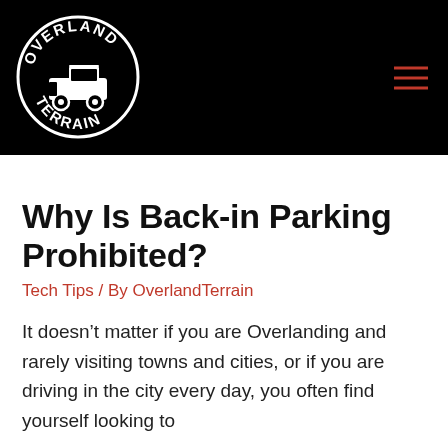[Figure (logo): Overland Terrain circular logo with vehicle illustration in white on black background]
Why Is Back-in Parking Prohibited?
Tech Tips / By OverlandTerrain
It doesn’t matter if you are Overlanding and rarely visiting towns and cities, or if you are driving in the city every day, you often find yourself looking to